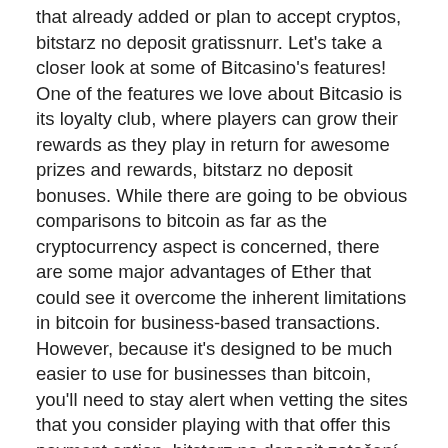that already added or plan to accept cryptos, bitstarz no deposit gratissnurr. Let's take a closer look at some of Bitcasino's features! One of the features we love about Bitcasio is its loyalty club, where players can grow their rewards as they play in return for awesome prizes and rewards, bitstarz no deposit bonuses. While there are going to be obvious comparisons to bitcoin as far as the cryptocurrency aspect is concerned, there are some major advantages of Ether that could see it overcome the inherent limitations in bitcoin for business-based transactions. However, because it's designed to be much easier to use for businesses than bitcoin, you'll need to stay alert when vetting the sites that you consider playing with that offer this payment option, bitstarz no deposit zatočení zdarma. Let's take a look at these benefits. Benefit #1: Financial privacy, bitstarz no deposit bonus codes. Below is a selection of some of my favorite games: Dice